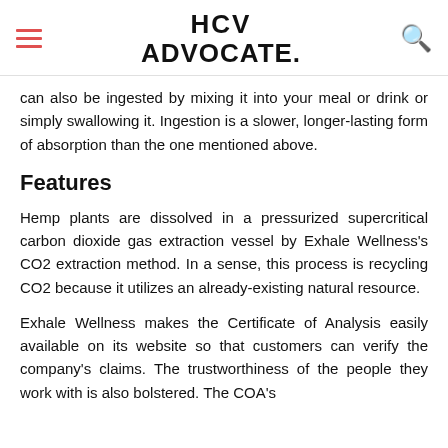HCV ADVOCATE.
can also be ingested by mixing it into your meal or drink or simply swallowing it. Ingestion is a slower, longer-lasting form of absorption than the one mentioned above.
Features
Hemp plants are dissolved in a pressurized supercritical carbon dioxide gas extraction vessel by Exhale Wellness's CO2 extraction method. In a sense, this process is recycling CO2 because it utilizes an already-existing natural resource.
Exhale Wellness makes the Certificate of Analysis easily available on its website so that customers can verify the company's claims. The trustworthiness of the people they work with is also bolstered. The COA's